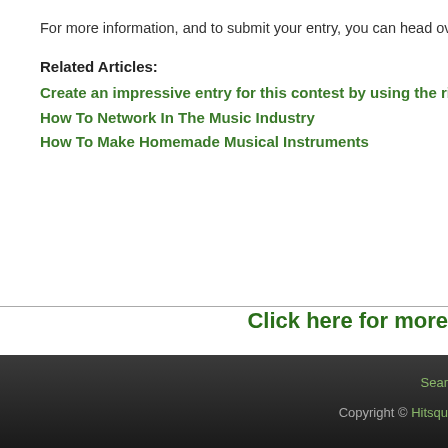For more information, and to submit your entry, you can head over to
Related Articles:
Create an impressive entry for this contest by using the right rec
How To Network In The Music Industry
How To Make Homemade Musical Instruments
Click here for more
Search  Copyright © Hitsqu